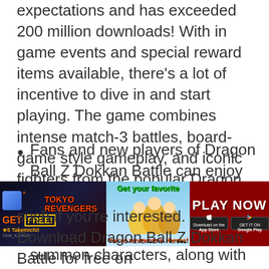expectations and has exceeded 200 million downloads! With in game events and special reward items available, there's a lot of incentive to dive in and start playing. The game combines intense match-3 battles, board-game style gameplay, and iconic fighters from the popular Dragon Ball universe.
Fans and new players of Dragon Ball Z Dokkan Battle can enjoy upcoming features and in-game events such as login bonuses, daily missions, being able to summon characters, along with various other fun rewards to choose from. We'll be covering with extra details
[Figure (illustration): Advertisement banner for Tokyo Revengers mobile game featuring game title, characters, GET FREE label, PLAY NOW button, App Store and Google Play badges]
such if you're interested. Download Dragon Ball Z Dokkan Battle for free on